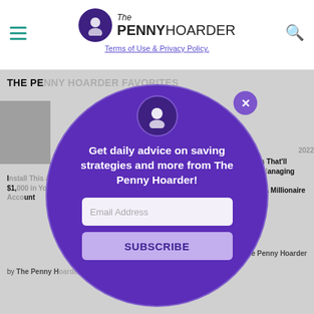The Penny Hoarder — Terms of Use & Privacy Policy.
THE PENNY HOARDER FAVORITES
by The Penny Hoarder
2022 ... steps That'll $1, ... Managing Your Account ... ke A Millionaire
by The Penny Hoarder
[Figure (screenshot): Popup modal on The Penny Hoarder website with circular purple design. Contains avatar logo, close button (X), headline 'Get daily advice on saving strategies and more from The Penny Hoarder!', an Email Address input field, and a SUBSCRIBE button.]